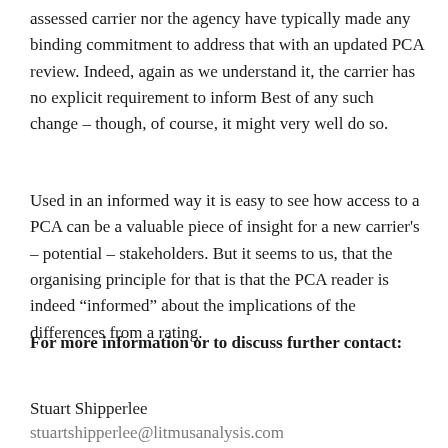assessed carrier nor the agency have typically made any binding commitment to address that with an updated PCA review. Indeed, again as we understand it, the carrier has no explicit requirement to inform Best of any such change – though, of course, it might very well do so.
Used in an informed way it is easy to see how access to a PCA can be a valuable piece of insight for a new carrier's – potential – stakeholders. But it seems to us, that the organising principle for that is that the PCA reader is indeed “informed” about the implications of the differences from a rating.
For more information or to discuss further contact:
Stuart Shipperlee
stuartshipperlee@litmusanalysis.com
Peter Hughes